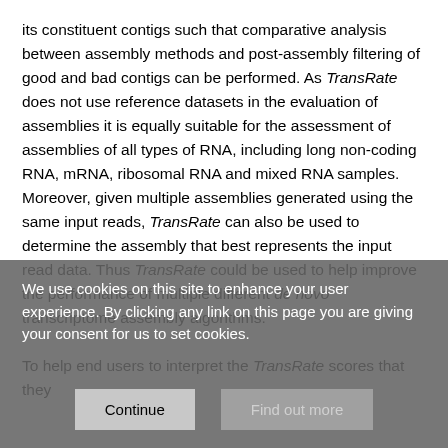its constituent contigs such that comparative analysis between assembly methods and post-assembly filtering of good and bad contigs can be performed. As TransRate does not use reference datasets in the evaluation of assemblies it is equally suitable for the assessment of assemblies of all types of RNA, including long non-coding RNA, mRNA, ribosomal RNA and mixed RNA samples. Moreover, given multiple assemblies generated using the same input reads, TransRate can also be used to determine the assembly that best represents the input read data. Thus TransRate could be used to help improve the performance of multiple different de novo transcriptome assembly algorithms.
To help end users to interpret the TransRate scores that they
We use cookies on this site to enhance your user experience. By clicking any link on this page you are giving your consent for us to set cookies.